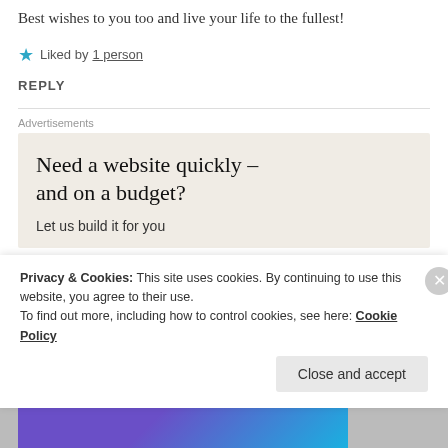Best wishes to you too and live your life to the fullest!
★ Liked by 1 person
REPLY
Advertisements
[Figure (infographic): Advertisement box with beige background. Title: 'Need a website quickly – and on a budget?' Subtitle: 'Let us build it for you']
Privacy & Cookies: This site uses cookies. By continuing to use this website, you agree to their use.
To find out more, including how to control cookies, see here: Cookie Policy
Close and accept